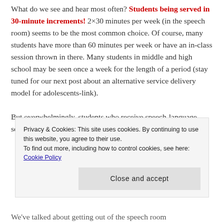What do we see and hear most often? Students being served in 30-minute increments! 2×30 minutes per week (in the speech room) seems to be the most common choice. Of course, many students have more than 60 minutes per week or have an in-class session thrown in there. Many students in middle and high school may be seen once a week for the length of a period (stay tuned for our next post about an alternative service delivery model for adolescents-link).
But overwhelmingly, students who receive speech-language services for 60 minutes per week are seen in
Privacy & Cookies: This site uses cookies. By continuing to use this website, you agree to their use. To find out more, including how to control cookies, see here: Cookie Policy
We've talked about getting out of the speech room